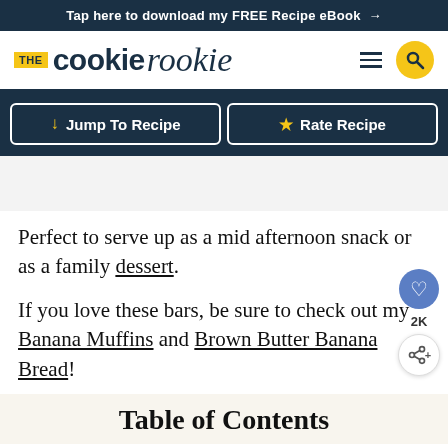Tap here to download my FREE Recipe eBook →
[Figure (logo): The Cookie Rookie logo with yellow THE badge, bold sans-serif 'cookie' and cursive 'rookie' wordmark, hamburger menu icon, and yellow circular search button]
↓ Jump To Recipe   ★ Rate Recipe
Perfect to serve up as a mid afternoon snack or as a family dessert.
If you love these bars, be sure to check out my Banana Muffins and Brown Butter Banana Bread!
Table of Contents